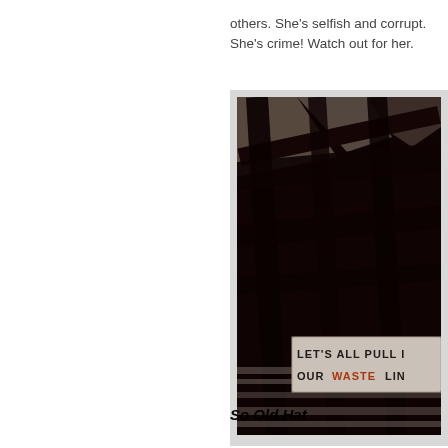others. She's selfish and corrupt. She's crime! Watch out for her.
[Figure (photo): Dark interior of a barn or warehouse with wooden beams. A banner/sign is visible reading 'LET'S ALL PULL [IN] OUR WASTE LIN[E]' with the word WASTE in orange/red letters.]
So Old Hat